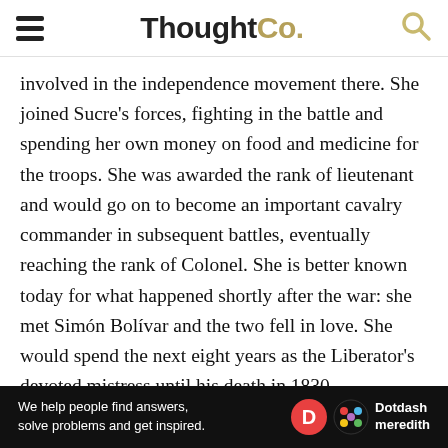ThoughtCo.
involved in the independence movement there. She joined Sucre's forces, fighting in the battle and spending her own money on food and medicine for the troops. She was awarded the rank of lieutenant and would go on to become an important cavalry commander in subsequent battles, eventually reaching the rank of Colonel. She is better known today for what happened shortly after the war: she met Simón Bolívar and the two fell in love. She would spend the next eight years as the Liberator's devoted mistress until his death in 1830.
Cite this Article
[Figure (other): Dotdash Meredith advertisement banner: 'We help people find answers, solve problems and get inspired.' with Dotdash Meredith logo]